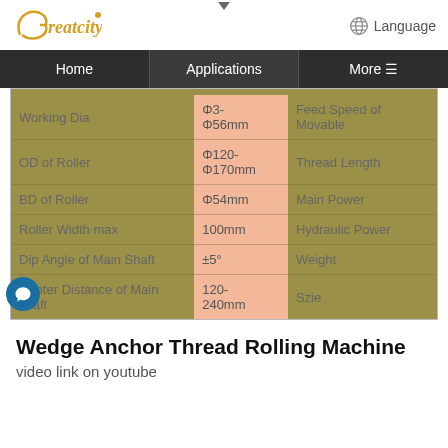[Figure (logo): Greatcity brand logo in gold italic text with a small circle superscript]
Language
Home | Applications | More
|  |  |  |
| --- | --- | --- |
| Working Dia | Φ3-Φ56mm | Feed Speed of Movable |
| OD of Roller | Φ120-Φ170mm | Thread Length |
| BD of Roller | Φ54mm | Main Power |
| Roller Width max | 100mm | Hydraulic Power |
| Dip Angle of Main Shaft | ±5° | Weight |
| Center Distance of Main shaft | 120-240mm | Szie |
Wedge Anchor Thread Rolling Machine
video link on youtube